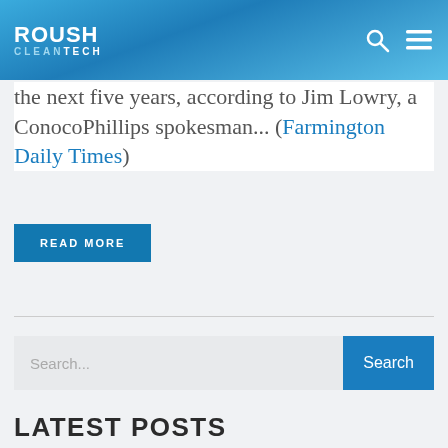ROUSH CLEANTECH
the next five years, according to Jim Lowry, a ConocoPhillips spokesman... (Farmington Daily Times)
READ MORE
Search...
LATEST POSTS